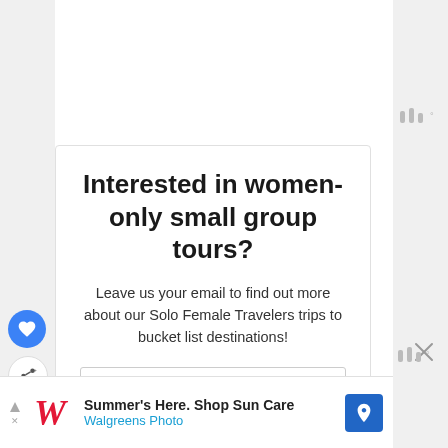[Figure (screenshot): Website UI screenshot showing a modal card with a signup prompt for women-only small group tours, social action buttons (like and share), weather widget icons on the right sidebar, and a Walgreens Photo advertisement banner at the bottom.]
Interested in women-only small group tours?
Leave us your email to find out more about our Solo Female Travelers trips to bucket list destinations!
First Name (optional)
Summer's Here. Shop Sun Care
Walgreens Photo